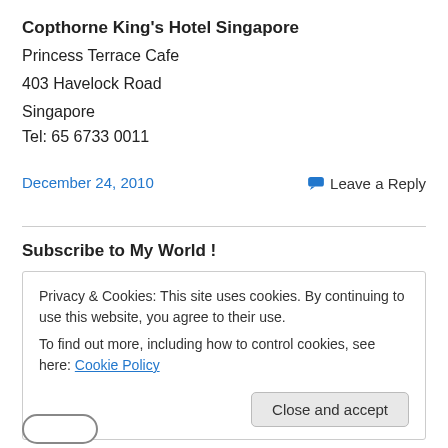Copthorne King's Hotel Singapore
Princess Terrace Cafe
403 Havelock Road
Singapore
Tel: 65 6733 0011
December 24, 2010
Leave a Reply
Subscribe to My World !
Privacy & Cookies: This site uses cookies. By continuing to use this website, you agree to their use.
To find out more, including how to control cookies, see here: Cookie Policy
Close and accept